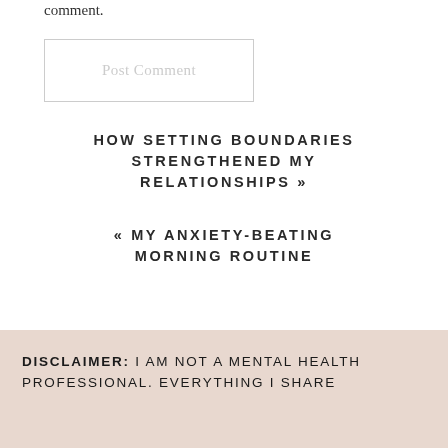comment.
Post Comment
HOW SETTING BOUNDARIES STRENGTHENED MY RELATIONSHIPS »
« MY ANXIETY-BEATING MORNING ROUTINE
DISCLAIMER: I AM NOT A MENTAL HEALTH PROFESSIONAL. EVERYTHING I SHARE